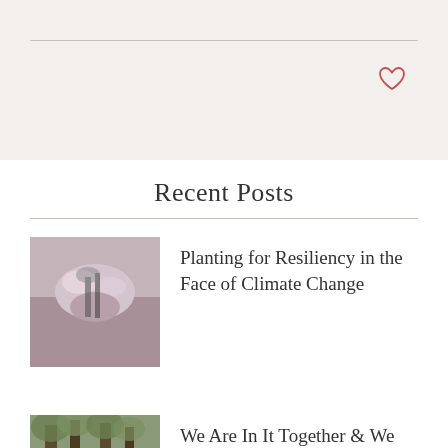[Figure (other): Heart (like) icon in red outline on light beige background panel]
Recent Posts
[Figure (photo): Thumbnail photo of butterfly on pink flowers (plant with small blossoms)]
Planting for Resiliency in the Face of Climate Change
[Figure (photo): Thumbnail photo of forest with green undergrowth and trees]
We Are In It Together & We will Overcome Together.
[Figure (other): Back to top button with chevron/caret up arrow on gray background]
[Figure (photo): Thumbnail photo of hillside or landscape (partially visible at bottom)]
On Site with the Tree Bank